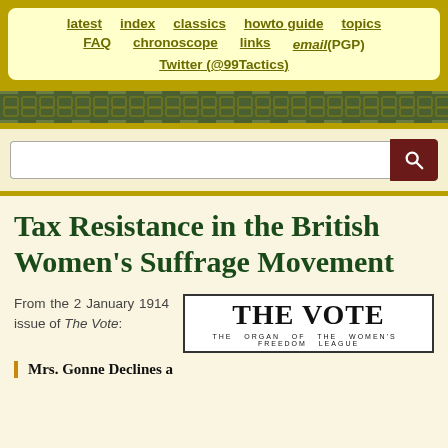latest   index   classics   howto guide   topics   FAQ   chronoscope   links   email (PGP)   Twitter (@99Tactics)
[Figure (other): Decorative green band with repeating pattern]
[Figure (other): Search bar with magnifying glass button]
Tax Resistance in the British Women's Suffrage Movement
From the 2 January 1914 issue of The Vote:
[Figure (logo): THE VOTE - THE ORGAN OF THE WOMEN'S FREEDOM LEAGUE logo in black border box]
Mrs. Gonne Declines a